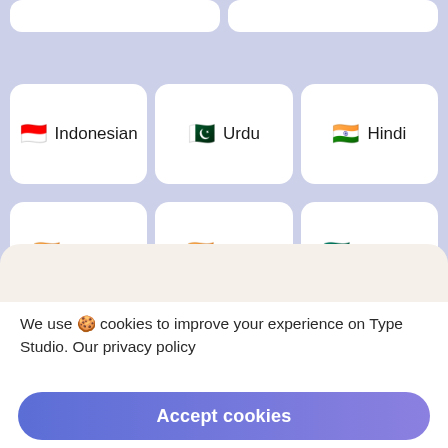[Figure (screenshot): Language selection UI showing cards with flag emojis and language names: Indonesian, Urdu, Hindi, Marathi, Tamil, Bengali on a lavender background]
We use 🍪 cookies to improve your experience on Type Studio. Our privacy policy
Accept cookies